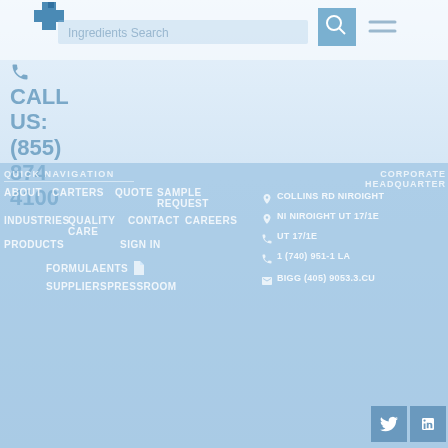[Figure (logo): Company logo with blue cross/plus symbol]
Ingredients Search
[Figure (screenshot): Search icon box (teal/blue background with magnifying glass)]
CALL US:
(855)
874
4100
QUICK NAVIGATION
ABOUT
CARTERS
QUOTE
SAMPLE REQUEST
INDUSTRIES
QUALITY CARE
CONTACT
CAREERS
PRODUCTS
SIGN IN
FORMULAENTS
SUPPLIERSPRESSROOM
CORPORATE HEADQUARTER
Collins Rd
NI NIROIGHT
UT 17/1E
1 (740) 951-1 LA
BIGG (405) 9053.3.CU
[Figure (logo): Twitter and LinkedIn social media icon boxes]